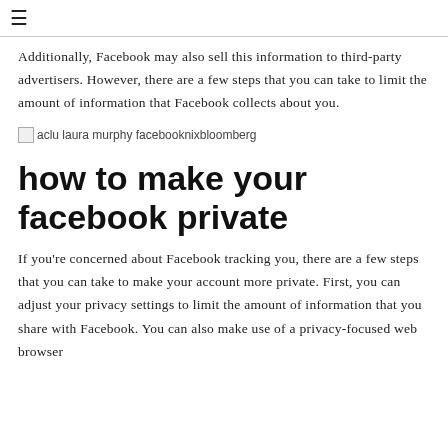≡
Additionally, Facebook may also sell this information to third-party advertisers. However, there are a few steps that you can take to limit the amount of information that Facebook collects about you.
[Figure (photo): Broken image placeholder labeled 'aclu laura murphy facebooknixbloomberg']
how to make your facebook private
If you're concerned about Facebook tracking you, there are a few steps that you can take to make your account more private. First, you can adjust your privacy settings to limit the amount of information that you share with Facebook. You can also make use of a privacy-focused web browser